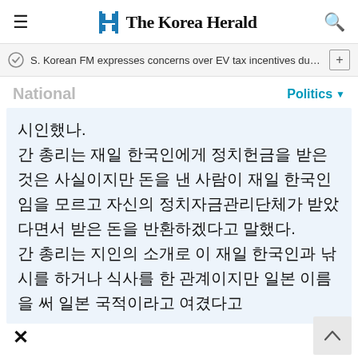The Korea Herald
S. Korean FM expresses concerns over EV tax incentives during c…
National
Politics
시인했나.
간 총리는 재일 한국인에게 정치헌금을 받은 것은 사실이지만 돈을 낸 사람이 재일 한국인임을 모르고 자신의 정치자금관리단체가 받았다면서 받은 돈을 반환하겠다고 말했다.
간 총리는 지인의 소개로 이 재일 한국인과 낚시를 하거나 식사를 한 관계이지만 일본 이름을 써 일본 국적이라고 여겼다고